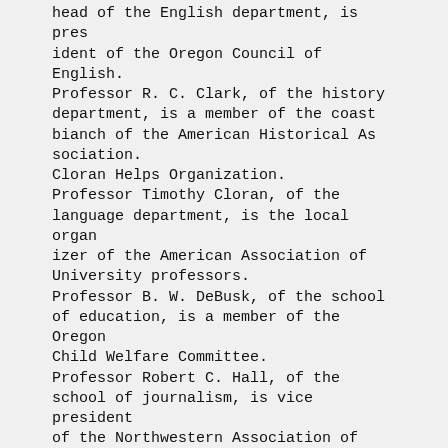head of the English department, is president of the Oregon Council of English. Professor R. C. Clark, of the history department, is a member of the coast bianch of the American Historical Association. Cloran Helps Organization. Professor Timothy Cloran, of the language department, is the local organizer of the American Association of University professors. Professor B. W. DeBusk, of the school of education, is a member of the Oregon Child Welfare Committee. Professor Robert C. Hall, of the school of journalism, is vice president of the Northwestern Association of Teachers of Journalism. Professor H. D. Sheldon, of the school of education, is organizer of the Oregon State Teachers Association. Mrs. W. F. G. Thacher, of the school of music, is national musical adviser to Mu Phi Epsilon. Professor F. G. Young, tof the school